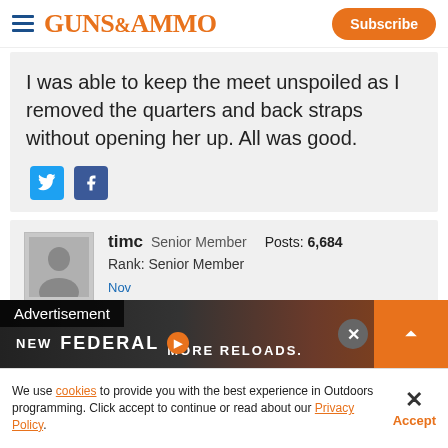GUNS&AMMO | Subscribe
I was able to keep the meet unspoiled as I removed the quarters and back straps without opening her up. All was good.
timc  Senior Member  Posts: 6,684
Rank: Senior Member
[Figure (screenshot): Advertisement banner: NEW FEDERAL MORE RELOADS.]
We use cookies to provide you with the best experience in Outdoors programming. Click accept to continue or read about our Privacy Policy.